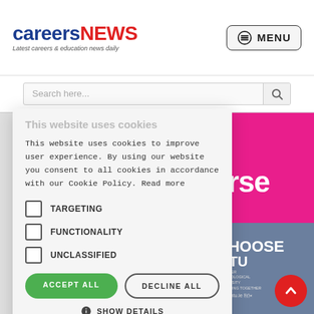careersNEWS – Latest careers & education news daily
Search here...
This website uses cookies to improve user experience. By using our website you consent to all cookies in accordance with our Cookie Policy. Read more
TARGETING
FUNCTIONALITY
UNCLASSIFIED
ACCEPT ALL
DECLINE ALL
SHOW DETAILS
POWERED BY COOKIE-SCRIPT
[Figure (other): Pink/magenta advertisement banner with text 'ourse']
[Figure (other): Blue-grey advertisement for CHOOSE MTU – Munster Technological University with website www.mtu.ie]